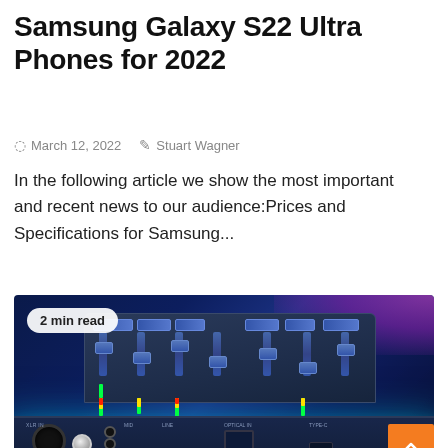Samsung Galaxy S22 Ultra Phones for 2022
March 12, 2022   Stuart Wagner
In the following article we show the most important and recent news to our audience:Prices and Specifications for Samsung...
[Figure (photo): Photo of an audio mixing console/interface with illuminated faders, knobs, and VU meters on a dark blue background with teal and purple neon lighting. A '2 min read' badge overlays the top-left corner. An orange back-to-top button is in the bottom-right corner.]